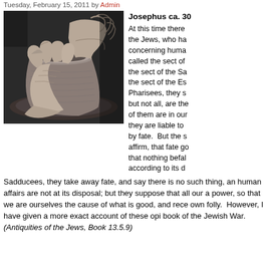Tuesday, February 15, 2011 by Admin
[Figure (photo): Black and white photograph of elderly hands shaping clay on a pottery wheel, forming a vase or pot.]
Josephus ca. 30
At this time there the Jews, who ha concerning huma called the sect of the sect of the Sa the sect of the Es Pharisees, they s but not all, are the of them are in our they are liable to by fate. But the s affirm, that fate go that nothing befal according to its d Sadducees, they take away fate, and say there is no such thing, an human affairs are not at its disposal; but they suppose that all our a power, so that we are ourselves the cause of what is good, and rece own folly. However, I have given a more exact account of these opi book of the Jewish War. (Antiquities of the Jews, Book 13.5.9)